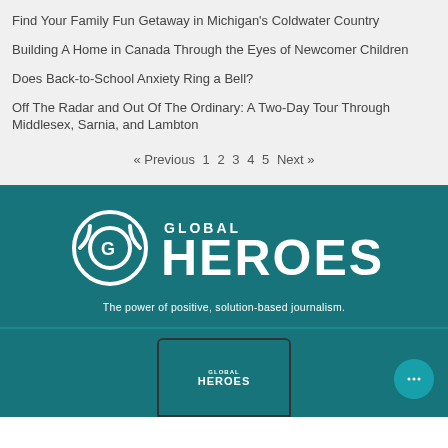Find Your Family Fun Getaway in Michigan's Coldwater Country
Building A Home in Canada Through the Eyes of Newcomer Children
Does Back-to-School Anxiety Ring a Bell?
Off The Radar and Out Of The Ordinary: A Two-Day Tour Through Middlesex, Sarnia, and Lambton
« Previous  1  2  3  4  5  Next »
[Figure (logo): Global Heroes logo — circular GH emblem with signal arcs on teal background, with large text GLOBAL HEROES]
The power of positive, solution-based journalism.
[Figure (screenshot): Bottom teal section showing a tablet device with Global Heroes logo on screen, and a chat bubble icon in the lower right corner]